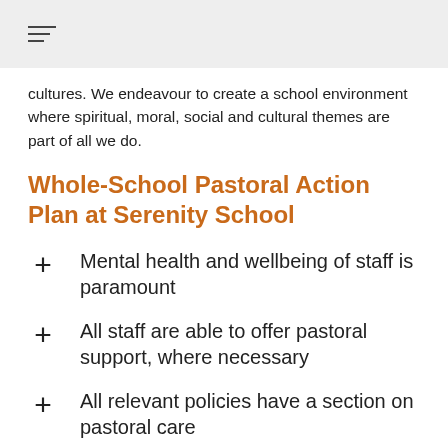cultures. We endeavour to create a school environment where spiritual, moral, social and cultural themes are part of all we do.
Whole-School Pastoral Action Plan at Serenity School
Mental health and wellbeing of staff is paramount
All staff are able to offer pastoral support, where necessary
All relevant policies have a section on pastoral care
Personal, social, health and